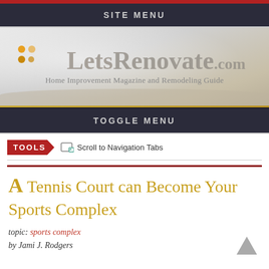SITE MENU
[Figure (logo): LetsRenovate.com logo with orange dots, large grey text and subtitle 'Home Improvement Magazine and Remodeling Guide']
TOGGLE MENU
TOOLS  Scroll to Navigation Tabs
A Tennis Court can Become Your Sports Complex
topic: sports complex
by Jami J. Rodgers